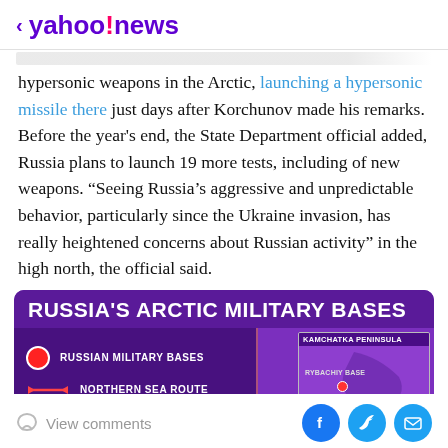< yahoo!news
hypersonic weapons in the Arctic, launching a hypersonic missile there just days after Korchunov made his remarks. Before the year's end, the State Department official added, Russia plans to launch 19 more tests, including of new weapons. “Seeing Russia’s aggressive and unpredictable behavior, particularly since the Ukraine invasion, has really heightened concerns about Russian activity” in the high north, the official said.
[Figure (infographic): Russia's Arctic Military Bases infographic showing a map with Russian Military Bases marked as red dots and Northern Sea Route shown with a red arrow. Includes an inset showing the Kamchatka Peninsula with Rybachiy Base marked.]
View comments